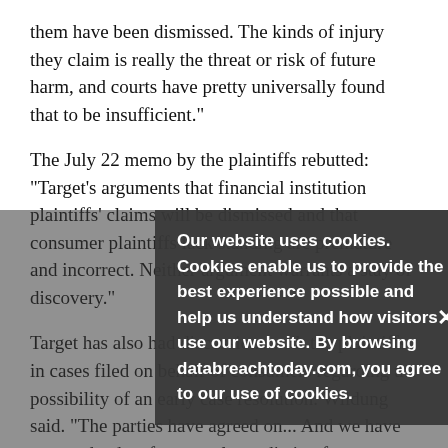them have been dismissed. The kinds of injury they claim is really the threat or risk of future harm, and courts have pretty universally found that to be insufficient."
The July 22 memo by the plaintiffs rebutted: "Target's arguments that financial institution plaintiffs' claims will be dismissed and that consumer plaintiffs lack standing are premature and incorrect. Neither argument warrants a stay of discovery".
Target has also had discussions with the plaintiffs in cases filed on behalf of consumers regarding the possibility of an early case resolution. Wildung said. "The parties have agreed on... And we have reserved a date for an early mediation for consumer cases," which is set for August 1...
Lawsuit Consolidation
Our website uses cookies. Cookies enable us to provide the best experience possible and help us understand how visitors use our website. By browsing databreachtoday.com, you agree to our use of cookies.